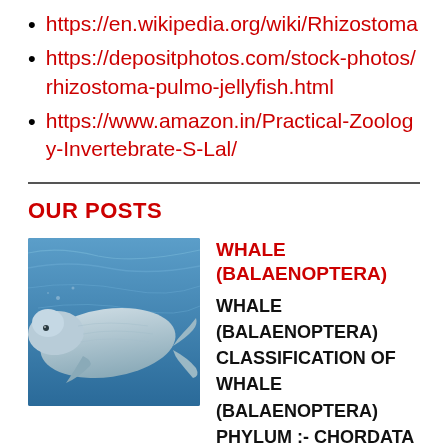https://en.wikipedia.org/wiki/Rhizostoma
https://depositphotos.com/stock-photos/rhizostoma-pulmo-jellyfish.html
https://www.amazon.in/Practical-Zoology-Invertebrate-S-Lal/
OUR POSTS
[Figure (photo): Underwater photograph of a beluga whale or similar cetacean swimming, viewed from below/side against blue water background.]
WHALE (BALAENOPTERA) WHALE (BALAENOPTERA) CLASSIFICATION OF WHALE (BALAENOPTERA) PHYLUM :- CHORDATA (Notochord, dorsal tubular